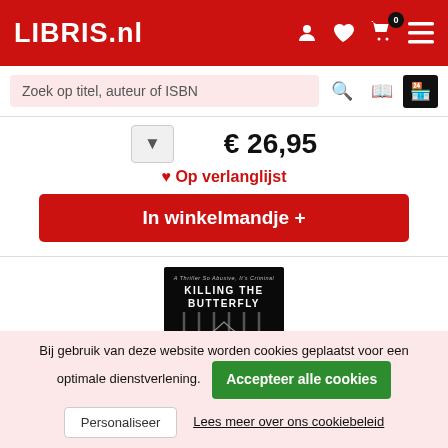LIBRIS.nl
Zoek op titel, auteur of ISBN
€ 26,95
Op verlanglijst
In winkelmandje +
[Figure (photo): Book cover: KILLING THE BUTTERFLY - A dark cover with vertical prison-bar-like lines and a butterfly silhouette. Subtitle: A Thriller So Abusive, It's Criminal]
Bij gebruik van deze website worden cookies geplaatst voor een optimale dienstverlening.
Accepteer alle cookies
Personaliseer
Lees meer over ons cookiebeleid